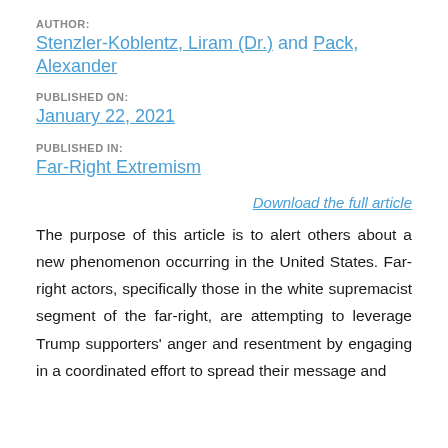AUTHOR:
Stenzler-Koblentz, Liram (Dr.) and Pack, Alexander
PUBLISHED ON:
January 22, 2021
PUBLISHED IN:
Far-Right Extremism
Download the full article
The purpose of this article is to alert others about a new phenomenon occurring in the United States. Far-right actors, specifically those in the white supremacist segment of the far-right, are attempting to leverage Trump supporters' anger and resentment by engaging in a coordinated effort to spread their message and